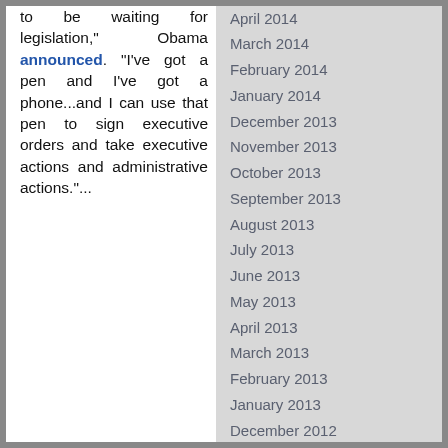to be waiting for legislation," Obama announced. "I've got a pen and I've got a phone...and I can use that pen to sign executive orders and take executive actions and administrative actions."...
April 2014
March 2014
February 2014
January 2014
December 2013
November 2013
October 2013
September 2013
August 2013
July 2013
June 2013
May 2013
April 2013
March 2013
February 2013
January 2013
December 2012
November 2012
October 2012
September 2012
August 2012